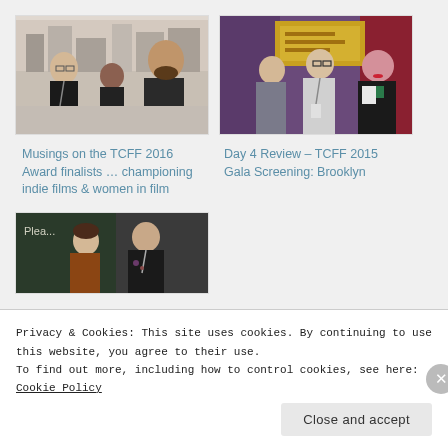[Figure (photo): Three people posing together indoors, city skyline visible in background]
Musings on the TCFF 2016 Award finalists … championing indie films & women in film
[Figure (photo): Three people standing together at what appears to be a film festival event]
Day 4 Review – TCFF 2015 Gala Screening: Brooklyn
[Figure (photo): Two women posing together, one in a brown jacket, partial view]
Privacy & Cookies: This site uses cookies. By continuing to use this website, you agree to their use. To find out more, including how to control cookies, see here: Cookie Policy
Close and accept